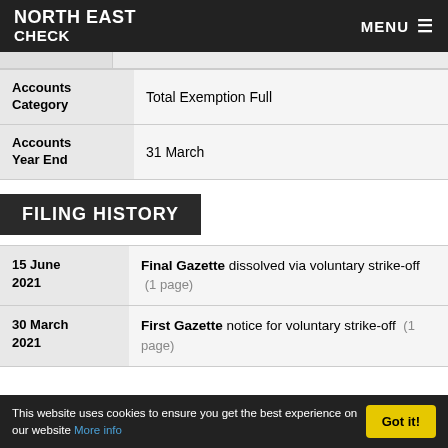NORTH EAST CHECK  MENU ≡
| Field | Value |
| --- | --- |
| Accounts Category | Total Exemption Full |
| Accounts Year End | 31 March |
FILING HISTORY
| Date | Description |
| --- | --- |
| 15 June 2021 | Final Gazette dissolved via voluntary strike-off  (1 page) |
| 30 March 2021 | First Gazette notice for voluntary strike-off  (1 page) |
This website uses cookies to ensure you get the best experience on our website More info  Got it!